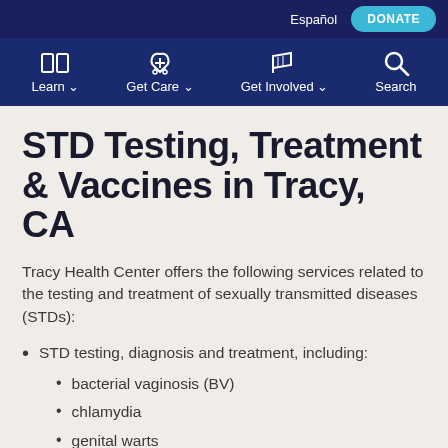Español  DONATE
Learn  Get Care  Get Involved  Search
STD Testing, Treatment & Vaccines in Tracy, CA
Tracy Health Center offers the following services related to the testing and treatment of sexually transmitted diseases (STDs):
STD testing, diagnosis and treatment, including:
bacterial vaginosis (BV)
chlamydia
genital warts